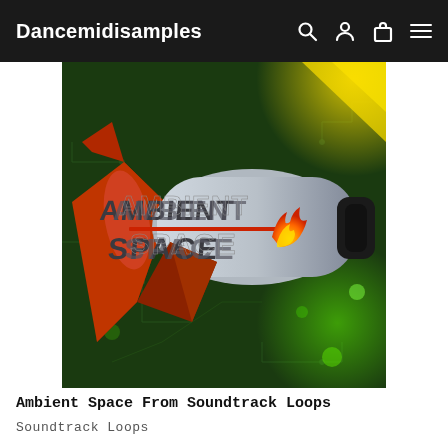Dancemidisamples
[Figure (illustration): Ambient Space product artwork showing a 3D silver rocket with 'AMBIENT SPACE' text, red nose cone and fins, flame exhaust logo, on a dark green circuit-board background with yellow triangles and glowing green/yellow bokeh]
Ambient Space From Soundtrack Loops
Soundtrack Loops